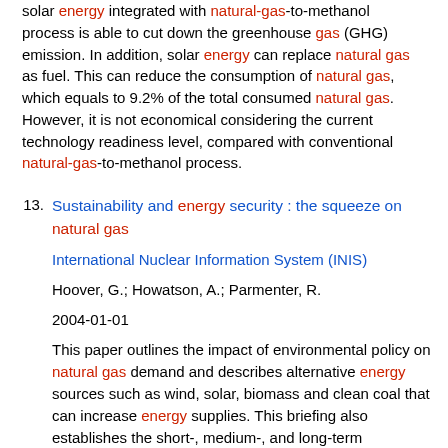solar energy integrated with natural-gas-to-methanol process is able to cut down the greenhouse gas (GHG) emission. In addition, solar energy can replace natural gas as fuel. This can reduce the consumption of natural gas, which equals to 9.2% of the total consumed natural gas. However, it is not economical considering the current technology readiness level, compared with conventional natural-gas-to-methanol process.
13. Sustainability and energy security : the squeeze on natural gas

International Nuclear Information System (INIS)

Hoover, G.; Howatson, A.; Parmenter, R.

2004-01-01

This paper outlines the impact of environmental policy on natural gas demand and describes alternative energy sources such as wind, solar, biomass and clean coal that can increase energy supplies. This briefing also establishes the short-, medium-, and long-term consequences of current natural gas realities. It also outlines the driving forces in Canada and the United States behind the demand for natural gas. The impact of